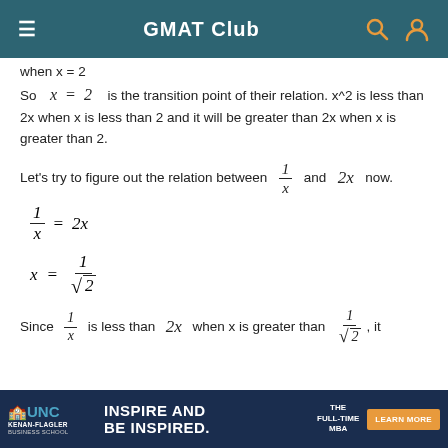GMAT Club
when x = 2
So x = 2 is the transition point of their relation. x^2 is less than 2x when x is less than 2 and it will be greater than 2x when x is greater than 2.
Let's try to figure out the relation between 1/x and 2x now.
Since 1/x is less than 2x when x is greater than 1/√2, it
[Figure (infographic): UNC Kenan-Flagler Business School advertisement banner: INSPIRE AND BE INSPIRED. THE FULL-TIME MBA. LEARN MORE button.]